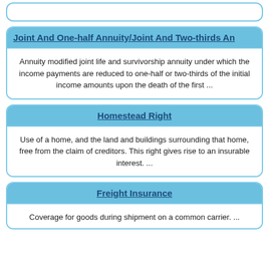Joint And One-half Annuity/Joint And Two-thirds An
Annuity modified joint life and survivorship annuity under which the income payments are reduced to one-half or two-thirds of the initial income amounts upon the death of the first ...
Homestead Right
Use of a home, and the land and buildings surrounding that home, free from the claim of creditors. This right gives rise to an insurable interest. ...
Freight Insurance
Coverage for goods during shipment on a common carrier. ...